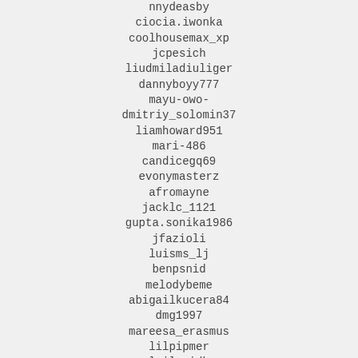nnydeasby
ciocia.iwonka
coolhousemax_xp
jcpesich
liudmiladiuliger
dannyboyy777
mayu-owo-
dmitriy_solomin37
liamhoward951
mari-486
candicegq69
evonymasterz
afromayne
jacklc_1121
gupta.sonika1986
jfazioli
luisms_lj
benpsnid
melodybeme
abigailkucera84
dmg1997
mareesa_erasmus
lilpipmer
laila.idb
jorlymiko